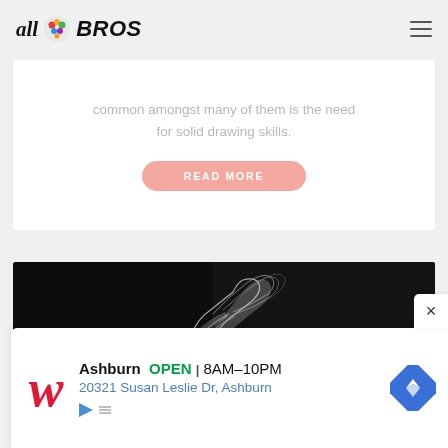all BROS
common amongst many of them is the need for solid drawing skills.
READ MORE
[Figure (photo): Dark background artwork showing a white figure or creature with flowing shapes, rendered in chalk or white pencil style on black.]
[Figure (infographic): Advertisement banner for Walgreens showing store location in Ashburn, OPEN 8AM-10PM, address 20321 Susan Leslie Dr, Ashburn, with navigation arrow icon and close button (x).]